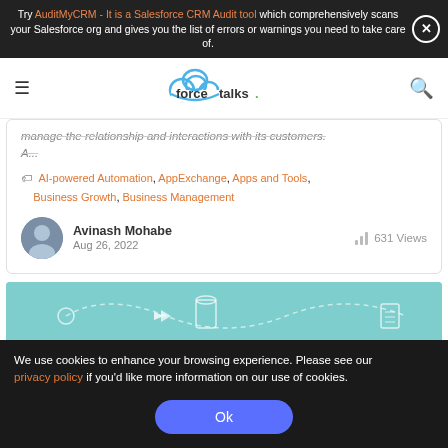Try AuditMyCRM - It is a Salesforce CRM Audit tool which comprehensively scans your Salesforce org and gives you the list of errors or warnings you need to take care of.
[Figure (logo): Forcetalks logo with cloud icon and text 'forcetalks.' with green dot]
manage the relationship and interactions with its customers. A...
AI-powered Automation, AppExchange, Apps and Tools, Business Growth, Business Management
Avinash Mohabe
Aug 26, 2022
631 Views
[Figure (illustration): Teal/cyan background with white line art showing workflow or data flow diagram with dashed arrows connecting various icons]
We use cookies to enhance your browsing experience. Please see our privacy policy if you'd like more information on our use of cookies.
Ok